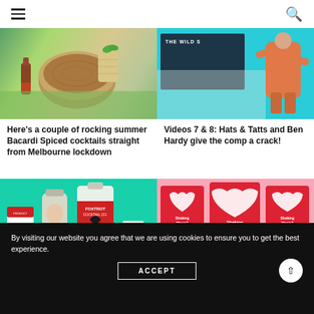Navigation header with hamburger menu and search icon
[Figure (photo): Two cocktails on a wooden stump outdoors — left shows liquor bottles on a picnic cloth, right shows a bamboo-style cup with green mint leaves]
Here’s a couple of rocking summer Bacardi Spiced cocktails straight from Melbourne lockdown
[Figure (photo): Cyan/blue background with 'THE WILD S...' text overlay, featuring a book or magazine and a person in orange outfit]
Videos 7 & 8: Hats & Tatts and Ben Hardy give the comp a crack!
[Figure (photo): Teal background showing Foxtrot Cocktail Co. bottles including Frank Vardier label, with small product containers around them]
[Figure (photo): Pink background with multiple red heart-shaped card designs reading 'Shaking Magic? Melbourne Magic?']
By visiting our website you agree that we are using cookies to ensure you to get the best experience.
ACCEPT